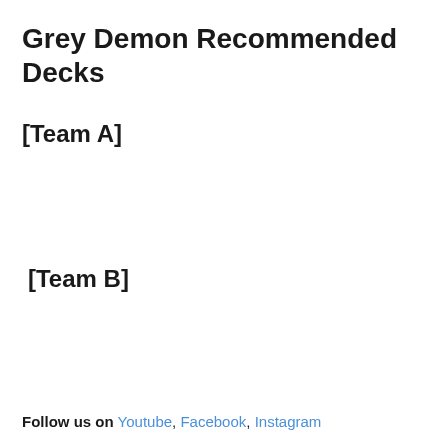Grey Demon Recommended Decks
[Team A]
[Team B]
Follow us on Youtube, Facebook, Instagram